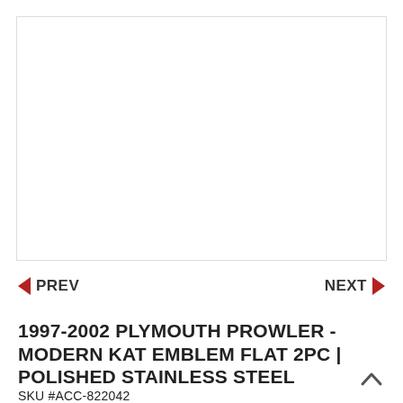[Figure (photo): White blank product image area with light border]
◄ PREV    NEXT ►
1997-2002 PLYMOUTH PROWLER - MODERN KAT EMBLEM FLAT 2PC | POLISHED STAINLESS STEEL
SKU #ACC-822042